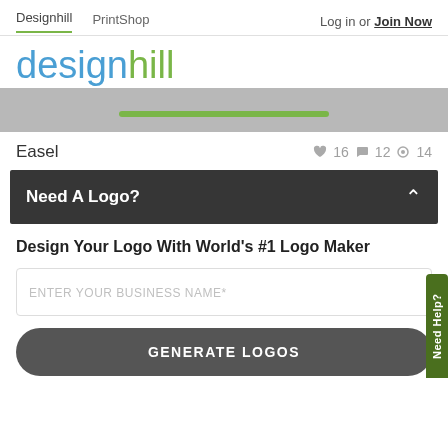Designhill   PrintShop   Log in or Join Now
[Figure (logo): Designhill logo in blue and green text]
[Figure (other): Gray banner with green curved line element]
Easel   ♥ 16  ● 12  ◎ 14
Need A Logo?
Design Your Logo With World's #1 Logo Maker
ENTER YOUR BUSINESS NAME*
GENERATE LOGOS